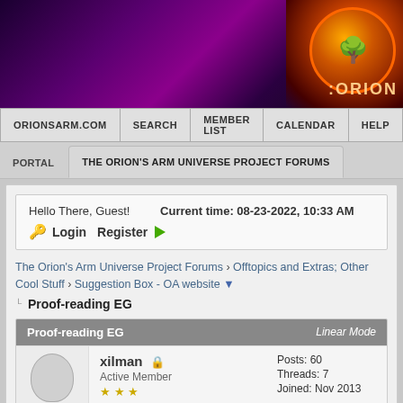[Figure (illustration): Purple nebula/galaxy banner with orange glowing orb logo on the right showing a tree silhouette, with text ':ORION']
ORIONSARM.COM | SEARCH | MEMBER LIST | CALENDAR | HELP
PORTAL | THE ORION'S ARM UNIVERSE PROJECT FORUMS
Hello There, Guest!  Current time: 08-23-2022, 10:33 AM
🔑 Login  Register →
The Orion's Arm Universe Project Forums › Offtopics and Extras; Other Cool Stuff › Suggestion Box - OA website ▼
Proof-reading EG
| Proof-reading EG | Linear Mode |
| --- | --- |
| xilman 🔒
Active Member
★★★ | Posts: 60
Threads: 7
Joined: Nov 2013 |